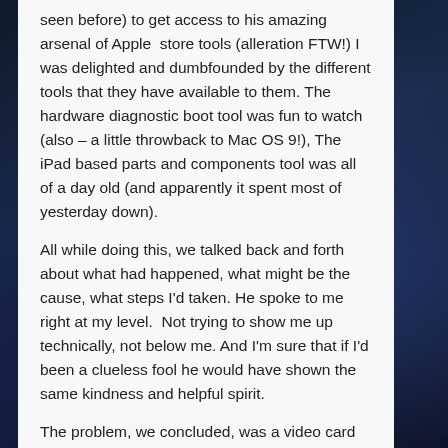seen before) to get access to his amazing arsenal of Apple store tools (alleration FTW!) I was delighted and dumbfounded by the different tools that they have available to them. The hardware diagnostic boot tool was fun to watch (also – a little throwback to Mac OS 9!), The iPad based parts and components tool was all of a day old (and apparently it spent most of yesterday down).
All while doing this, we talked back and forth about what had happened, what might be the cause, what steps I'd taken. He spoke to me right at my level.  Not trying to show me up technically, not below me. And I'm sure that if I'd been a clueless fool he would have shown the same kindness and helpful spirit.
The problem, we concluded, was a video card failure. The repair weighed in at $170 including labor. It was almost a no-brainer. My iMac remains at the Apple